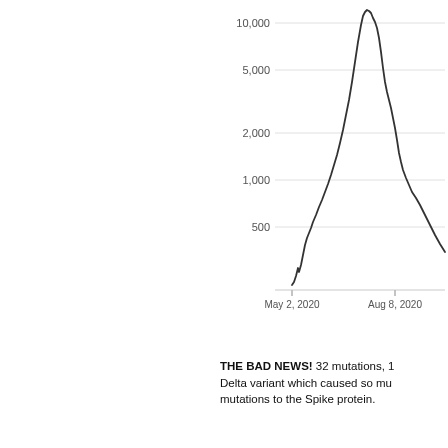[Figure (continuous-plot): Line chart showing values on a log-scale y-axis (500, 1000, 2000, 5000, 10000) over time. X-axis shows two labeled dates: May 2, 2020 and Aug 8, 2020. The line starts low around 200 near May 2020, rises steeply to a peak of approximately 11,000-12,000 around late July 2020, then descends sharply to around 1,000 by Aug 8, 2020.]
THE BAD NEWS! 32 mutations, 1 Delta variant which caused so mu mutations to the Spike protein.